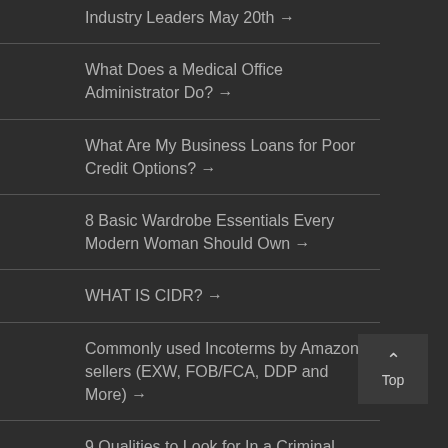Industry Leaders May 20th →
What Does a Medical Office Administrator Do? →
What Are My Business Loans for Poor Credit Options? →
8 Basic Wardrobe Essentials Every Modern Woman Should Own →
WHAT IS CIDR? →
Commonly used Incoterms by Amazon sellers (EXW, FOB/FCA, DDP and More) →
9 Qualities to Look for In a Criminal Defense Lawyer →